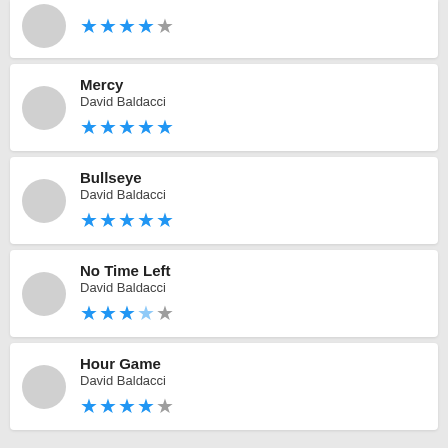Mercy - David Baldacci - 4.5 stars
Bullseye - David Baldacci - 4.5 stars
No Time Left - David Baldacci - 3.5 stars
Hour Game - David Baldacci - 4 stars